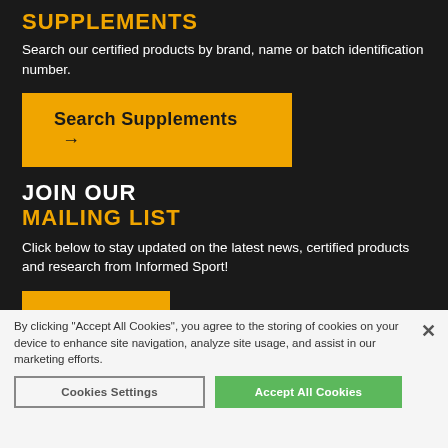SUPPLEMENTS
Search our certified products by brand, name or batch identification number.
Search Supplements →
JOIN OUR
MAILING LIST
Click below to stay updated on the latest news, certified products and research from Informed Sport!
Sign Up →
By clicking "Accept All Cookies", you agree to the storing of cookies on your device to enhance site navigation, analyze site usage, and assist in our marketing efforts.
Cookies Settings
Accept All Cookies